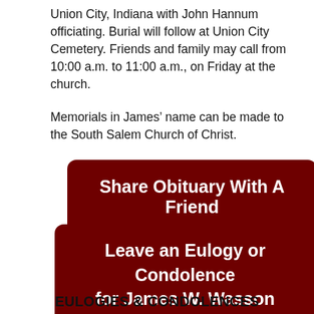Union City, Indiana with John Hannum officiating. Burial will follow at Union City Cemetery. Friends and family may call from 10:00 a.m. to 11:00 a.m., on Friday at the church.
Memorials in James’ name can be made to the South Salem Church of Christ.
Share Obituary With A Friend
Leave an Eulogy or Condolence for James W. Wasson
EULOGIES & CONDOLENCES